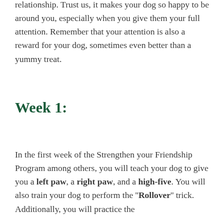relationship. Trust us, it makes your dog so happy to be around you, especially when you give them your full attention. Remember that your attention is also a reward for your dog, sometimes even better than a yummy treat.
Week 1:
In the first week of the Strengthen your Friendship Program among others, you will teach your dog to give you a left paw, a right paw, and a high-five. You will also train your dog to perform the ''Rollover'' trick. Additionally, you will practice the